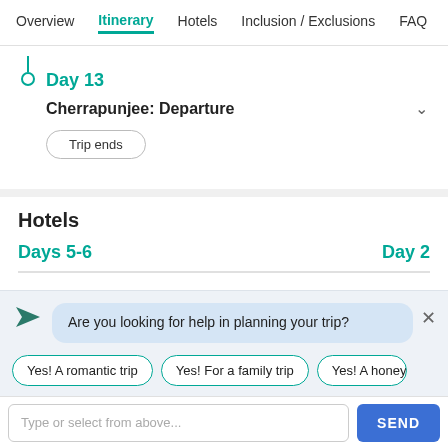Overview | Itinerary | Hotels | Inclusion / Exclusions | FAQ
Day 13
Cherrapunjee: Departure
Trip ends
Hotels
Days 5-6
Day 2
Are you looking for help in planning your trip?
Yes! A romantic trip
Yes! For a family trip
Yes! A honey...
Type or select from above...
SEND